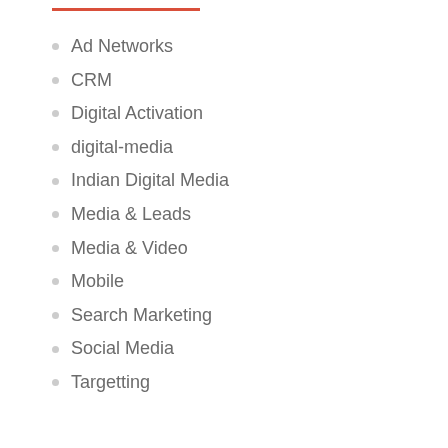Ad Networks
CRM
Digital Activation
digital-media
Indian Digital Media
Media & Leads
Media & Video
Mobile
Search Marketing
Social Media
Targetting